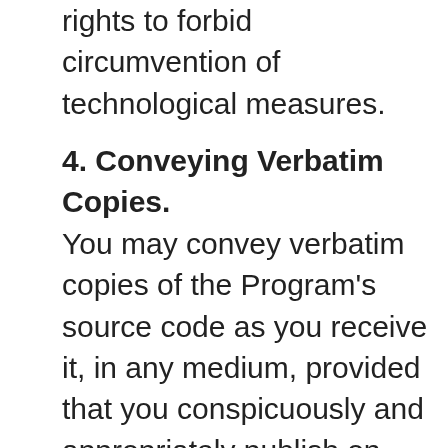rights to forbid circumvention of technological measures.
4. Conveying Verbatim Copies.
You may convey verbatim copies of the Program's source code as you receive it, in any medium, provided that you conspicuously and appropriately publish on each copy an appropriate copyright notice; keep intact all notices stating that this License and any non-permissive terms added in accord with section 7 apply to the code; keep intact all notices of the absence of any warranty; and give all recipients a copy of this License along with